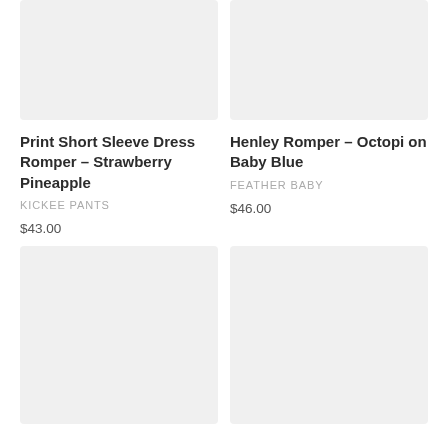[Figure (photo): Product image placeholder for Print Short Sleeve Dress Romper - Strawberry Pineapple]
[Figure (photo): Product image placeholder for Henley Romper - Octopi on Baby Blue]
Print Short Sleeve Dress Romper – Strawberry Pineapple
KICKEE PANTS
$43.00
Henley Romper – Octopi on Baby Blue
FEATHER BABY
$46.00
[Figure (photo): Second product image placeholder - left]
[Figure (photo): Second product image placeholder - right]